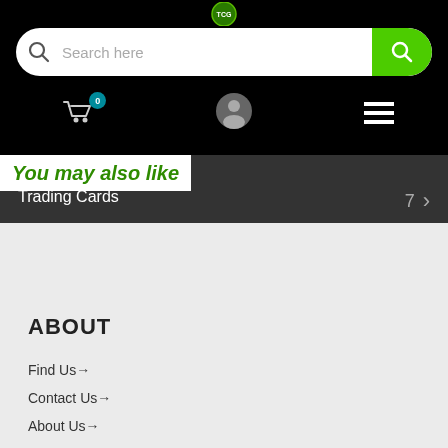[Figure (screenshot): Website header with black background, search bar with green search button, cart icon with badge showing 0, user profile icon, and hamburger menu icon]
You may also like
Trading Cards   7  >
ABOUT
Find Us→
Contact Us→
About Us→
Help Wanted→